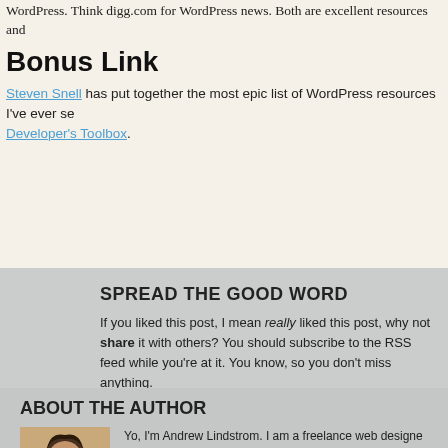WordPress. Think digg.com for WordPress news. Both are excellent resources and
Bonus Link
Steven Snell has put together the most epic list of WordPress resources I've ever seen. Developer's Toolbox.
SPREAD THE GOOD WORD
If you liked this post, I mean really liked this post, why not share it with others? You should subscribe to the RSS feed while you're at it. You know, so you don't miss anything.
[Figure (infographic): Social sharing icons: Delicious (blue/white circle icon), Stumble It (green SU icon), and a third partially visible orange RSS icon]
ABOUT THE AUTHOR
[Figure (photo): Photo of Andrew Lindstrom, a young man with dark hair looking down]
Yo, I'm Andrew Lindstrom. I am a freelance web designer from Vancouver, Canada. When not geeking out over design, I'm geeking out over film, technology or pretending to play th